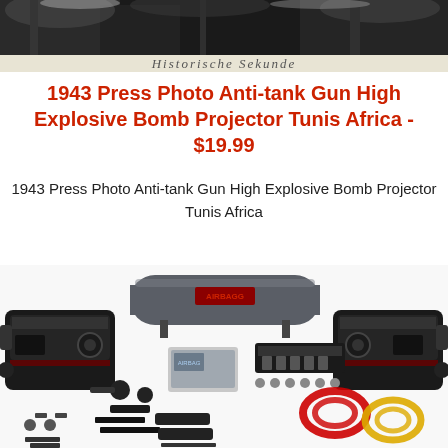[Figure (photo): Black and white historical press photo at top of page, partial view showing dark outdoor scene with text overlay strip at bottom reading cursive/italic text]
1943 Press Photo Anti-tank Gun High Explosive Bomb Projector Tunis Africa - $19.99
1943 Press Photo Anti-tank Gun High Explosive Bomb Projector Tunis Africa
[Figure (photo): Product photo showing an air compressor kit with dual compressors, a large cylindrical air tank labeled in red, and various components including valves, wiring, and fittings laid out on white background]